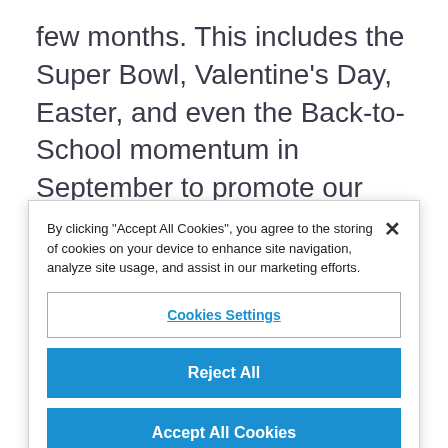few months. This includes the Super Bowl, Valentine's Day, Easter, and even the Back-to-School momentum in September to promote our brands, products, and services.
So for the sake of simplicity we'll refer to all of these as 'holiday marketing' events because
By clicking "Accept All Cookies", you agree to the storing of cookies on your device to enhance site navigation, analyze site usage, and assist in our marketing efforts.
Cookies Settings
Reject All
Accept All Cookies